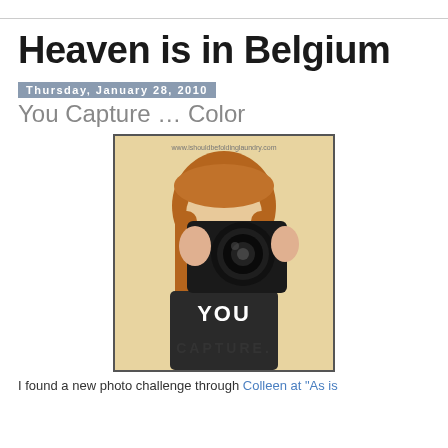Heaven is in Belgium
Thursday, January 28, 2010
You Capture … Color
[Figure (photo): Photo of a girl holding a DSLR camera up to her face, obscuring her face. She has long reddish-brown hair. The image has a warm vintage tone. Text on her shirt reads 'YOU CAPTURE.' Watermark at top: www.ishouldbefoldinglaundry.com]
I found a new photo challenge through Colleen at "As is